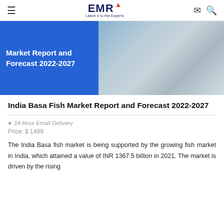EMR — Leave it to the Experts
[Figure (photo): Banner image showing 'Market Report and Forecast 2022-2027' text on a blue background on the left, and product/nature images on the right]
India Basa Fish Market Report and Forecast 2022-2027
24 Hour Email Delivery
Price: $ 1499
The India Basa fish market is being supported by the growing fish market in India, which attained a value of INR 1367.5 billion in 2021. The market is driven by the rising